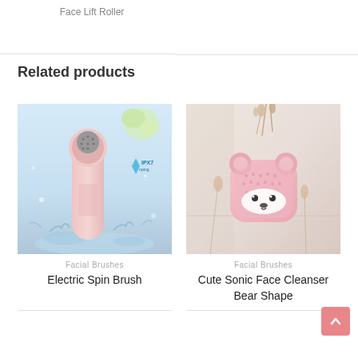Face Lift Roller
Related products
[Figure (photo): Pink electric spin brush with IPX7 waterproof badge, water splashing around it, rose in background]
Facial Brushes
Electric Spin Brush
[Figure (photo): Pink bear-shaped silicone sonic face cleanser surrounded by dried flowers on white background]
Facial Brushes
Cute Sonic Face Cleanser Bear Shape